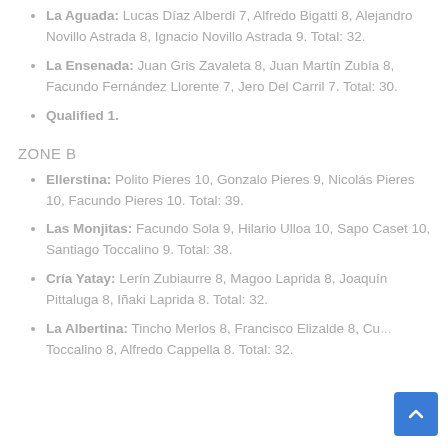La Aguada: Lucas Díaz Alberdi 7, Alfredo Bigatti 8, Alejandro Novillo Astrada 8, Ignacio Novillo Astrada 9. Total: 32.
La Ensenada: Juan Gris Zavaleta 8, Juan Martín Zubía 8, Facundo Fernández Llorente 7, Jero Del Carril 7. Total: 30.
Qualified 1.
ZONE B
Ellerstina: Polito Pieres 10, Gonzalo Pieres 9, Nicolás Pieres 10, Facundo Pieres 10. Total: 39.
Las Monjitas: Facundo Sola 9, Hilario Ulloa 10, Sapo Caset 10, Santiago Toccalino 9. Total: 38.
Cría Yatay: Lerín Zubiaurre 8, Magoo Laprida 8, Joaquín Pittaluga 8, Iñaki Laprida 8. Total: 32.
La Albertina: Tincho Merlos 8, Francisco Elizalde 8, Cu... Toccalino 8, Alfredo Cappella 8. Total: 32.